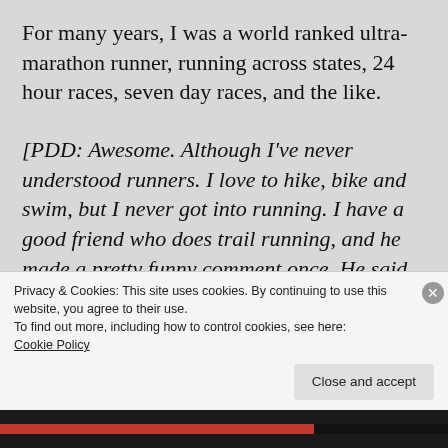For many years, I was a world ranked ultra-marathon runner, running across states, 24 hour races, seven day races, and the like.
[PDD: Awesome. Although I've never understood runners. I love to hike, bike and swim, but I never got into running. I have a good friend who does trail running, and he made a pretty funny comment once. He said, “I don’t run. I just plan
Privacy & Cookies: This site uses cookies. By continuing to use this website, you agree to their use.
To find out more, including how to control cookies, see here: Cookie Policy
Close and accept